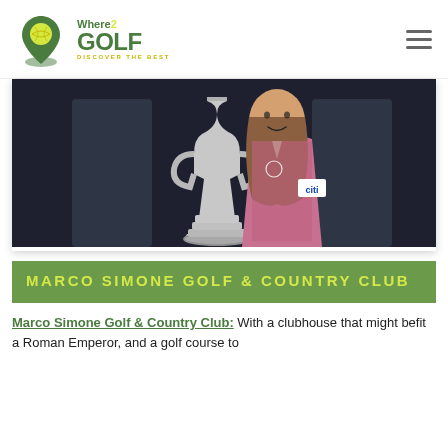Where2Golf - DISCOVER THE BEST
[Figure (photo): A golfer with long hair holding up the Claret Jug trophy, wearing a pink patterned polo shirt with a Citi logo on the sleeve, smiling at the camera against a dark background.]
MARCO SIMONE GOLF & COUNTRY CLUB
Marco Simone Golf & Country Club: With a clubhouse that might befit a Roman Emperor, and a golf course to